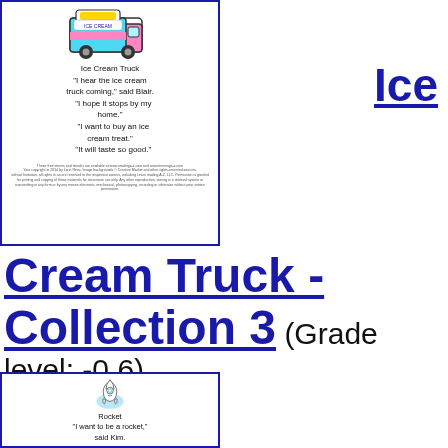[Figure (illustration): Colorful ice cream truck illustration at the top of a book card]
Ice Cream Truck
"I hear the ice cream truck coming," said Blair.
"I hope it stops by my home."
"I want to buy an ice cream treat."
"It will taste so good."
Ice
Ice Cream Truck - Collection 3 (Grade level: -0.6)
[Figure (illustration): Cartoon rocket ship character illustration]
Rocket
"I want to be a rocket," said Kim.